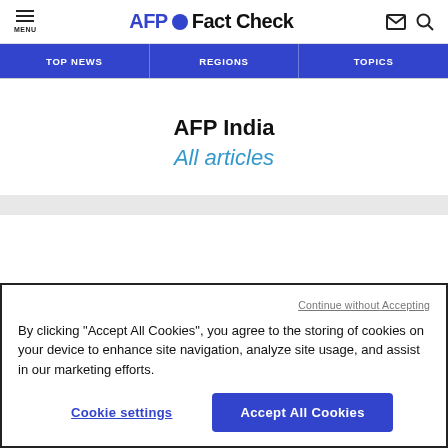AFP Fact Check
TOP NEWS | REGIONS | TOPICS
AFP India
All articles
Continue without Accepting
By clicking “Accept All Cookies”, you agree to the storing of cookies on your device to enhance site navigation, analyze site usage, and assist in our marketing efforts.
Cookie settings
Accept All Cookies